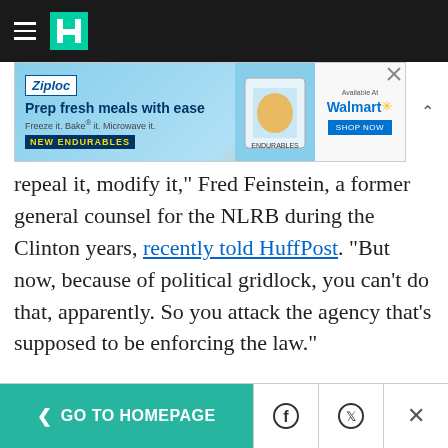HuffPost
[Figure (other): Ziploc Endurables advertisement: 'Prep fresh meals with ease. Freeze it. Bake it. Microwave it. NEW ENDURABLES. Available at Walmart.']
repeal it, modify it," Fred Feinstein, a former general counsel for the NLRB during the Clinton years, recently told HuffPost. "But now, because of political gridlock, you can't do that, apparently. So you attack the agency that's supposed to be enforcing the law."
Until the Noel Canning case is resolved, House Republicans have demanded that board members Block and Griffin, whose recess
< GO TO HOMEPAGE